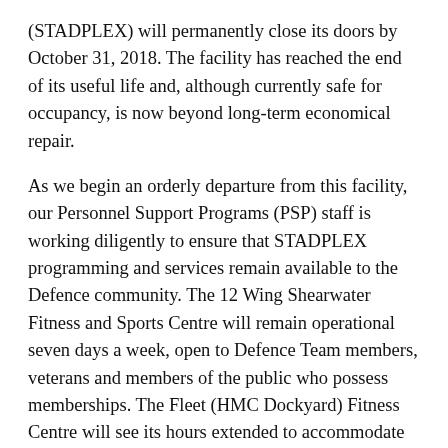(STADPLEX) will permanently close its doors by October 31, 2018. The facility has reached the end of its useful life and, although currently safe for occupancy, is now beyond long-term economical repair.
As we begin an orderly departure from this facility, our Personnel Support Programs (PSP) staff is working diligently to ensure that STADPLEX programming and services remain available to the Defence community. The 12 Wing Shearwater Fitness and Sports Centre will remain operational seven days a week, open to Defence Team members, veterans and members of the public who possess memberships. The Fleet (HMC Dockyard) Fitness Centre will see its hours extended to accommodate members of the Defence community who frequent the facility for PT classes, programs and day-to-day use. Updated program scheduling and revised hours of operation will be made available in the coming weeks and will be announced via MCAN messages